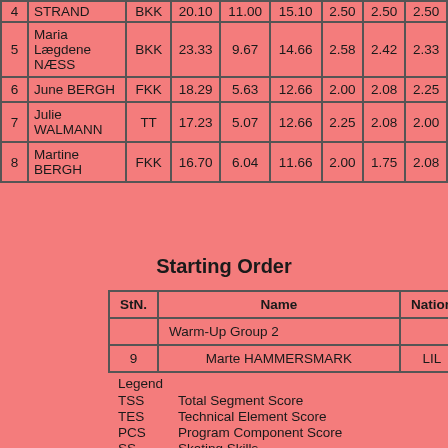| # | Name | Nation | TSS | TES | PCS | SS |  |  |
| --- | --- | --- | --- | --- | --- | --- | --- | --- |
| 4 | STRAND | BKK | 20.10 | 11.00 | 15.10 | 2.50 | 2.50 | 2.50 |
| 5 | Maria Lægdene NÆSS | BKK | 23.33 | 9.67 | 14.66 | 2.58 | 2.42 | 2.33 |
| 6 | June BERGH | FKK | 18.29 | 5.63 | 12.66 | 2.00 | 2.08 | 2.25 |
| 7 | Julie WALMANN | TT | 17.23 | 5.07 | 12.66 | 2.25 | 2.08 | 2.00 |
| 8 | Martine BERGH | FKK | 16.70 | 6.04 | 11.66 | 2.00 | 1.75 | 2.08 |
Starting Order
| StN. | Name | Nation |
| --- | --- | --- |
|  | Warm-Up Group 2 |  |
| 9 | Marte HAMMERSMARK | LIL |
Legend
TSS   Total Segment Score
TES   Technical Element Score
PCS   Program Component Score
SS     Skating Skills